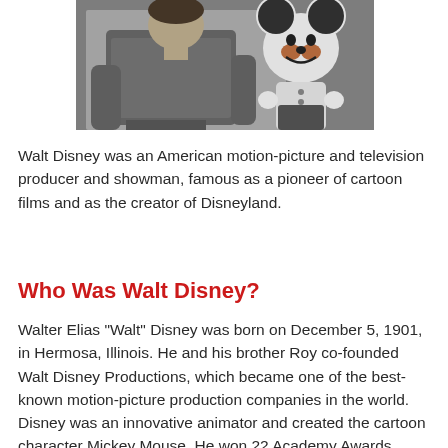[Figure (photo): Black and white photograph of Walt Disney standing next to a large Mickey Mouse cartoon figure/costume]
Walt Disney was an American motion-picture and television producer and showman, famous as a pioneer of cartoon films and as the creator of Disneyland.
Who Was Walt Disney?
Walter Elias "Walt" Disney was born on December 5, 1901, in Hermosa, Illinois. He and his brother Roy co-founded Walt Disney Productions, which became one of the best-known motion-picture production companies in the world. Disney was an innovative animator and created the cartoon character Mickey Mouse. He won 22 Academy Awards during his lifetime, and was the founder of theme parks Disneyland and Walt Disney World.